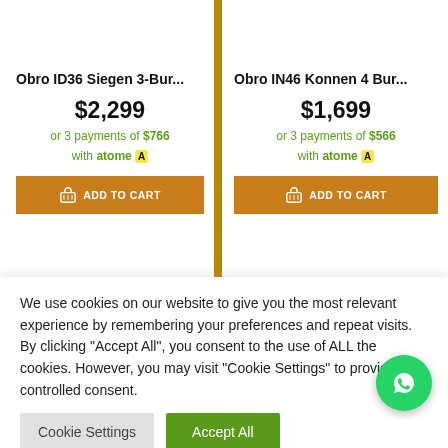Obro ID36 Siegen 3-Bur...
$2,299
or 3 payments of $766 with atome
ADD TO CART
Obro IN46 Konnen 4 Bur...
$1,699
or 3 payments of $566 with atome
ADD TO CART
We use cookies on our website to give you the most relevant experience by remembering your preferences and repeat visits. By clicking "Accept All", you consent to the use of ALL the cookies. However, you may visit "Cookie Settings" to provide a controlled consent.
Cookie Settings
Accept All